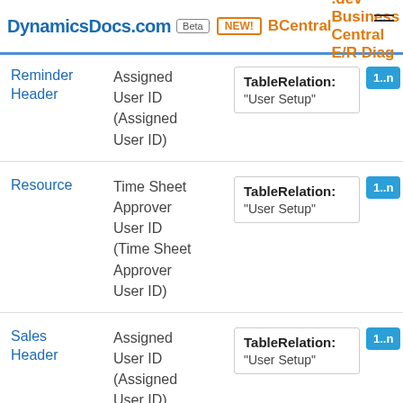DynamicsDocs.com Beta | NEW! | BCentral.dev — Business Central E/R Diagram
| Table | Field | Relation | Cardinality |
| --- | --- | --- | --- |
| Reminder Header | Assigned User ID (Assigned User ID) | TableRelation: "User Setup" | 1..n |
| Resource | Time Sheet Approver User ID (Time Sheet Approver User ID) | TableRelation: "User Setup" | 1..n |
| Sales Header | Assigned User ID (Assigned User ID) | TableRelation: "User Setup" | 1..n |